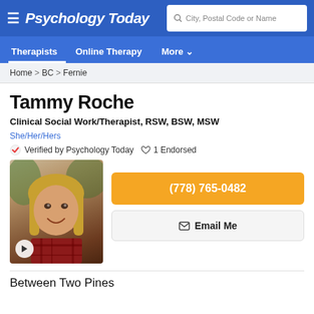Psychology Today
Therapists   Online Therapy   More
Home > BC > Fernie
Tammy Roche
Clinical Social Work/Therapist, RSW, BSW, MSW
She/Her/Hers
Verified by Psychology Today   ♡ 1 Endorsed
[Figure (photo): Portrait photo of Tammy Roche, a woman with blonde hair smiling, with a play button overlay in the bottom left corner]
(778) 765-0482
Email Me
Between Two Pines